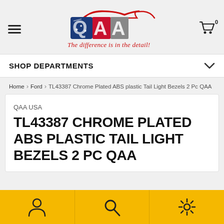[Figure (logo): QAA logo with American flag themed letters and red car silhouette. Tagline: The difference is in the detail!]
SHOP DEPARTMENTS
Home › Ford › TL43387 Chrome Plated ABS plastic Tail Light Bezels 2 Pc QAA
QAA USA
TL43387 CHROME PLATED ABS PLASTIC TAIL LIGHT BEZELS 2 PC QAA
[Figure (infographic): Bottom navigation bar with yellow background showing person/account icon, search icon, and settings/gear icon]